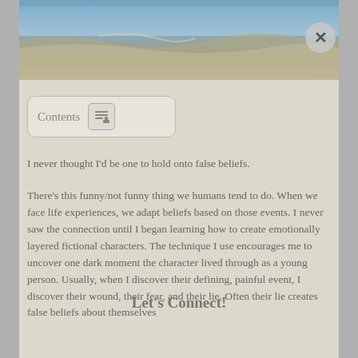[Figure (photo): Aerial or landscape photo showing water and land/rock formations, muted tones of blue, beige, and gray.]
Contents
I never thought I'd be one to hold onto false beliefs.
There's this funny/not funny thing we humans tend to do. When we face life experiences, we adapt beliefs based on those events. I never saw the connection until I began learning how to create emotionally layered fictional characters. The technique I use encourages me to uncover one dark moment the character lived through as a young person. Usually, when I discover their defining, painful event, I discover their wound, their fear, and their lie. Often their lie creates false beliefs about themselves